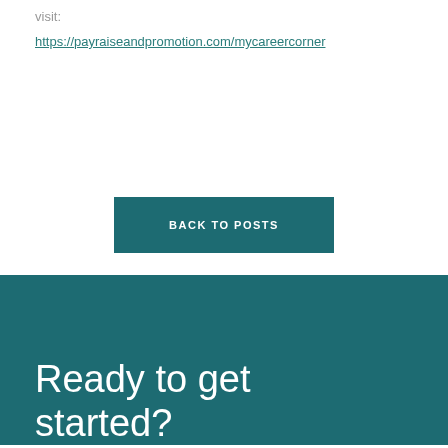visit:
https://payraiseandpromotion.com/mycareercorner
BACK TO POSTS
Ready to get started?